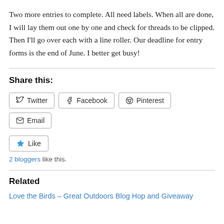Two more entries to complete. All need labels. When all are done, I will lay them out one by one and check for threads to be clipped. Then I’ll go over each with a line roller. Our deadline for entry forms is the end of June. I better get busy!
Share this:
Twitter | Facebook | Pinterest | Email
Like
2 bloggers like this.
Related
Love the Birds – Great Outdoors Blog Hop and Giveaway